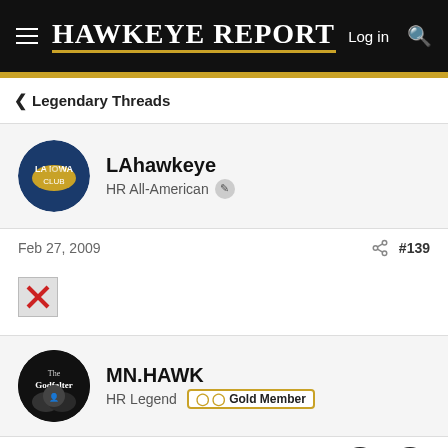Hawkeye Report  Log in  [search]
< Legendary Threads
LAhawkeye
HR All-American
Feb 27, 2009   #139
[Figure (illustration): Broken image placeholder (red X on grey background)]
MN.HAWK
HR Legend   Gold Member
Feb 27, 2009   #140